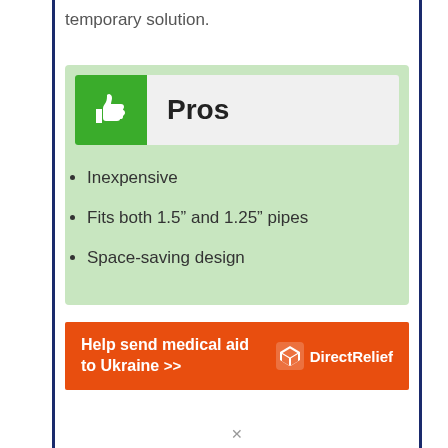temporary solution.
Pros
Inexpensive
Fits both 1.5" and 1.25" pipes
Space-saving design
[Figure (infographic): Orange advertisement banner reading 'Help send medical aid to Ukraine >>' with Direct Relief logo on the right]